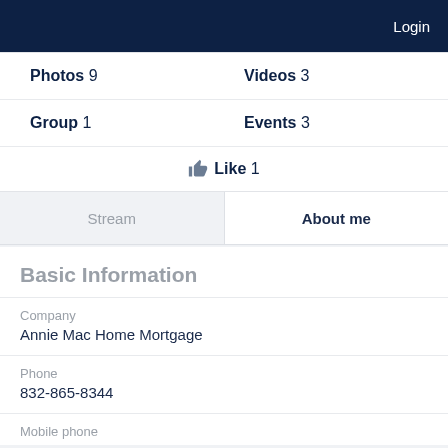Login
Photos 9   Videos 3
Group 1   Events 3
Like 1
Stream   About me
Basic Information
Company
Annie Mac Home Mortgage
Phone
832-865-8344
Mobile phone